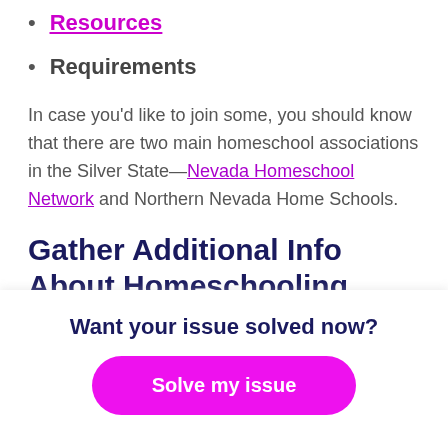Resources
Requirements
In case you'd like to join some, you should know that there are two main homeschool associations in the Silver State—Nevada Homeschool Network and Northern Nevada Home Schools.
Gather Additional Info About Homeschooling With Our Help
To get familiar with various aspects of
Want your issue solved now?
Solve my issue